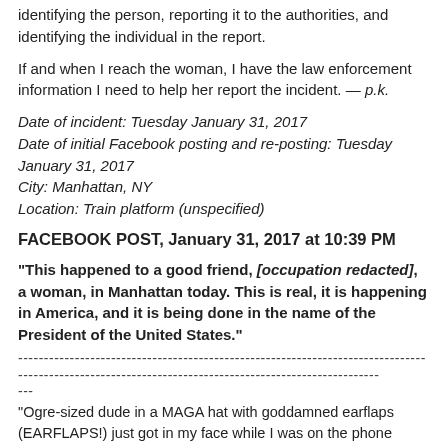identifying the person, reporting it to the authorities, and identifying the individual in the report.
If and when I reach the woman, I have the law enforcement information I need to help her report the incident. — p.k.
Date of incident: Tuesday January 31, 2017
Date of initial Facebook posting and re-posting: Tuesday January 31, 2017
City: Manhattan, NY
Location: Train platform (unspecified)
FACEBOOK POST, January 31, 2017 at 10:39 PM
“This happened to a good friend, [occupation redacted], a woman, in Manhattan today. This is real, it is happening in America, and it is being done in the name of the President of the United States.”
-----------------------------------------------------------------------------------------------------------------------------------
---
"Ogre-sized dude in a MAGA hat with goddamned earflaps (EARFLAPS!) just got in my face while I was on the phone